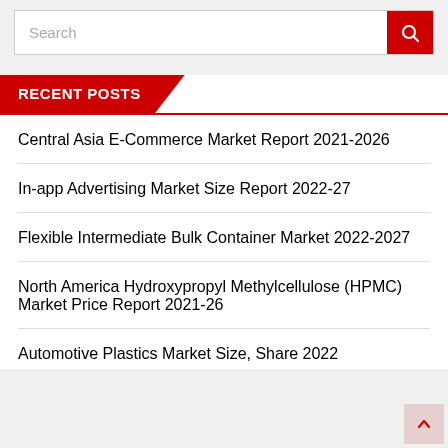[Figure (screenshot): Search bar with red search button containing a magnifying glass icon]
RECENT POSTS
Central Asia E-Commerce Market Report 2021-2026
In-app Advertising Market Size Report 2022-27
Flexible Intermediate Bulk Container Market 2022-2027
North America Hydroxypropyl Methylcellulose (HPMC) Market Price Report 2021-26
Automotive Plastics Market Size, Share 2022